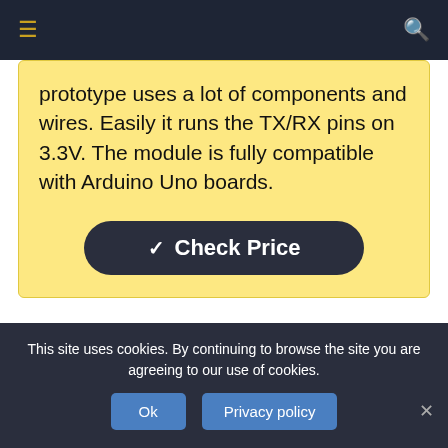≡  [navigation]  🔍
prototype uses a lot of components and wires. Easily it runs the TX/RX pins on 3.3V. The module is fully compatible with Arduino Uno boards.
[Figure (other): Dark rounded button with checkmark icon and text 'Check Price']
[Figure (other): Dashed green border box with a green circle partially visible at the bottom center]
This site uses cookies. By continuing to browse the site you are agreeing to our use of cookies.
Ok   Privacy policy